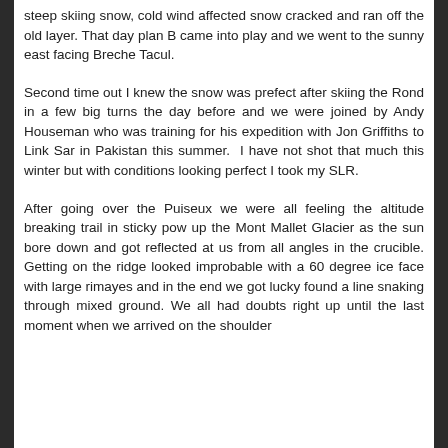steep skiing snow, cold wind affected snow cracked and ran off the old layer. That day plan B came into play and we went to the sunny east facing Breche Tacul.
Second time out I knew the snow was prefect after skiing the Rond in a few big turns the day before and we were joined by Andy Houseman who was training for his expedition with Jon Griffiths to Link Sar in Pakistan this summer.  I have not shot that much this winter but with conditions looking perfect I took my SLR.
After going over the Puiseux we were all feeling the altitude breaking trail in sticky pow up the Mont Mallet Glacier as the sun bore down and got reflected at us from all angles in the crucible. Getting on the ridge looked improbable with a 60 degree ice face with large rimayes and in the end we got lucky found a line snaking through mixed ground. We all had doubts right up until the last moment when we arrived on the shoulder